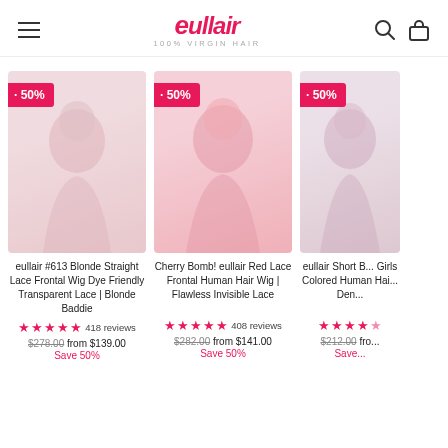eullair 100% Virgin Hair
[Figure (photo): Product photo of eullair #613 Blonde Straight Lace Frontal Wig with 50% discount tag]
eullair #613 Blonde Straight Lace Frontal Wig Dye Friendly Transparent Lace | Blonde Baddie
418 reviews
$278.00  from $139.00  Save 50%
[Figure (photo): Product photo of Cherry Bomb! eullair Red Lace Frontal Human Hair Wig with 50% discount tag]
Cherry Bomb! eullair Red Lace Frontal Human Hair Wig | Flawless Invisible Lace
408 reviews
$282.00  from $141.00  Save 50%
[Figure (photo): Product photo of eullair Short Bob Girls Colored Human Hair Wig with 50% discount tag (partially cropped)]
eullair Short B... Girls Colored Human Hai... Den...
$212.00  fro...  Save...